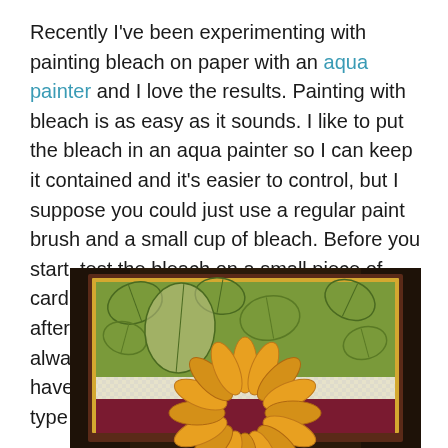Recently I've been experimenting with painting bleach on paper with an aqua painter and I love the results. Painting with bleach is as easy as it sounds. I like to put the bleach in an aqua painter so I can keep it contained and it's easier to control, but I suppose you could just use a regular paint brush and a small cup of bleach. Before you start, test the bleach on a small piece of card stock to see what the color fades to after the bleach does its work. It's not always what you would expect. Also, you have to stamp with Staz-On ink; any other type of ink will fade along with your paper.
[Figure (photo): A handmade greeting card showing a green background with stamped leaf outlines and a large orange/yellow sunflower or lotus bloom in the foreground, mounted on a dark brown/maroon base with a yellow border strip.]